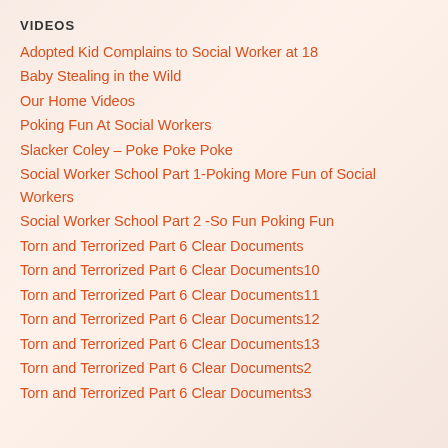VIDEOS
Adopted Kid Complains to Social Worker at 18
Baby Stealing in the Wild
Our Home Videos
Poking Fun At Social Workers
Slacker Coley – Poke Poke Poke
Social Worker School Part 1-Poking More Fun of Social Workers
Social Worker School Part 2 -So Fun Poking Fun
Torn and Terrorized Part 6 Clear Documents
Torn and Terrorized Part 6 Clear Documents10
Torn and Terrorized Part 6 Clear Documents11
Torn and Terrorized Part 6 Clear Documents12
Torn and Terrorized Part 6 Clear Documents13
Torn and Terrorized Part 6 Clear Documents2
Torn and Terrorized Part 6 Clear Documents3